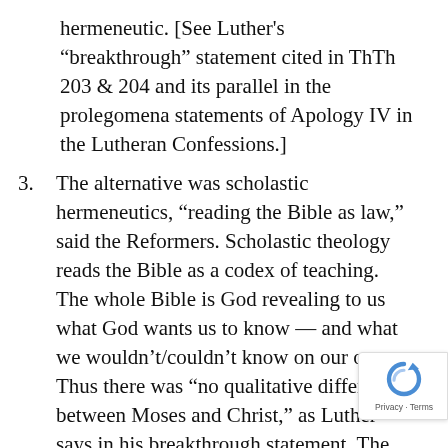hermeneutic. [See Luther's “breakthrough” statement cited in ThTh 203 & 204 and its parallel in the prolegomena statements of Apology IV in the Lutheran Confessions.]
3. The alternative was scholastic hermeneutics, “reading the Bible as law,” said the Reformers. Scholastic theology reads the Bible as a codex of teaching. The whole Bible is God revealing to us what God wants us to know — and what we wouldn’t/couldn’t know on our own. Thus there was “no qualitative difference between Moses and Christ,” as Luther says in his breakthrough statement. The entire Bible is God’s own canon for what we are to believe, how we are to behave,